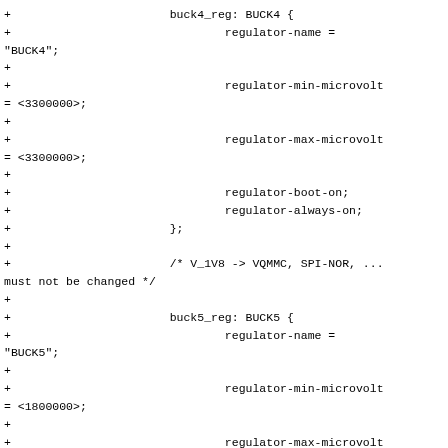Diff output of device tree code showing BUCK4, BUCK5, BUCK6 regulator configurations with regulator-name, regulator-min-microvolt, regulator-max-microvolt, regulator-boot-on, and regulator-always-on properties.